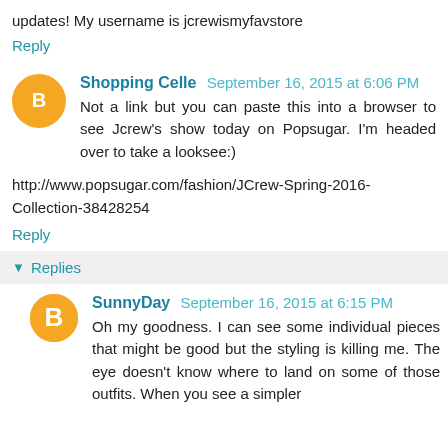updates! My username is jcrewismyfavstore
Reply
Shopping Celle  September 16, 2015 at 6:06 PM
Not a link but you can paste this into a browser to see Jcrew's show today on Popsugar. I'm headed over to take a looksee:)
http://www.popsugar.com/fashion/JCrew-Spring-2016-Collection-38428254
Reply
Replies
SunnyDay  September 16, 2015 at 6:15 PM
Oh my goodness. I can see some individual pieces that might be good but the styling is killing me. The eye doesn't know where to land on some of those outfits. When you see a simpler